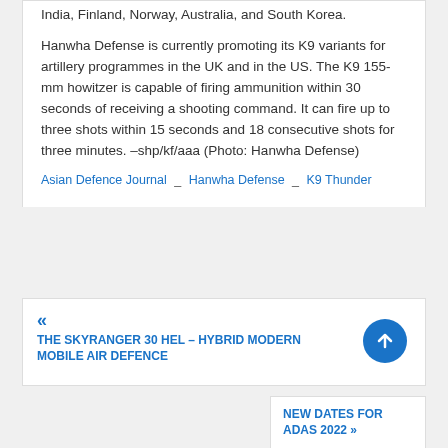India, Finland, Norway, Australia, and South Korea.
Hanwha Defense is currently promoting its K9 variants for artillery programmes in the UK and in the US. The K9 155-mm howitzer is capable of firing ammunition within 30 seconds of receiving a shooting command. It can fire up to three shots within 15 seconds and 18 consecutive shots for three minutes. –shp/kf/aaa (Photo: Hanwha Defense)
Asian Defence Journal _ Hanwha Defense _ K9 Thunder
« THE SKYRANGER 30 HEL – HYBRID MODERN MOBILE AIR DEFENCE
NEW DATES FOR ADAS 2022 »